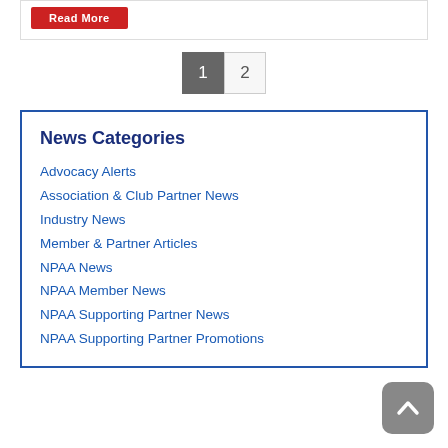Read More
1 2
News Categories
Advocacy Alerts
Association & Club Partner News
Industry News
Member & Partner Articles
NPAA News
NPAA Member News
NPAA Supporting Partner News
NPAA Supporting Partner Promotions